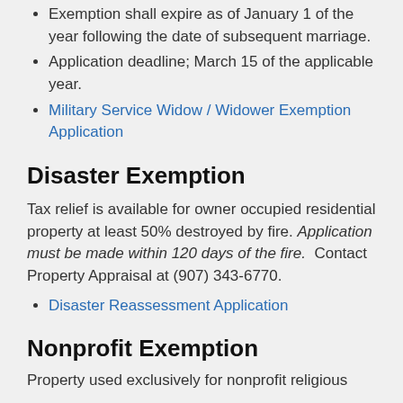Exemption shall expire as of January 1 of the year following the date of subsequent marriage.
Application deadline; March 15 of the applicable year.
Military Service Widow / Widower Exemption Application
Disaster Exemption
Tax relief is available for owner occupied residential property at least 50% destroyed by fire. Application must be made within 120 days of the fire.  Contact Property Appraisal at (907) 343-6770.
Disaster Reassessment Application
Nonprofit Exemption
Property used exclusively for nonprofit religious